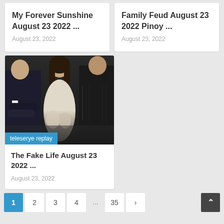My Forever Sunshine August 23 2022 ...
August 23, 2022
Family Feud August 23 2022 Pinoy ...
August 23, 2022
[Figure (photo): Three people posing: two men in dark suits flanking a woman in a light dress, with a blue banner reading 'teleserye replay' at the bottom]
The Fake Life August 23 2022 ...
August 23, 2022
1  2  3  4  ...  35  >